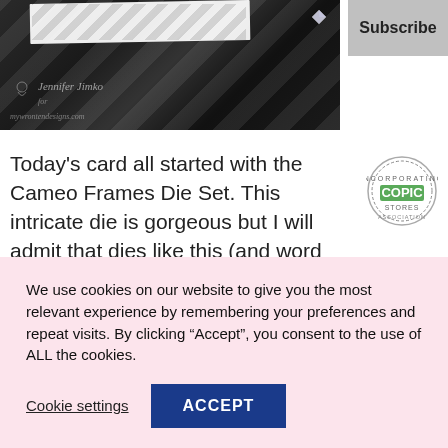[Figure (photo): Dark decorative card photo with diagonal stripe pattern and Jennifer Jimko watermark text at bottom left, with a small gem/crystal embellishment visible]
Subscribe
Today's card all started with the Cameo Frames Die Set.  This intricate die is gorgeous but I will admit that dies like this (and word dies) sometime intimidate me because of how to adhere them to a card.  So I was a stamper on a mission and took advantage of this collaboration to see what solution I could find.  And you know what??  I found one!  The Xyron sticker
[Figure (logo): Copic Certified stamp/badge circular logo]
We use cookies on our website to give you the most relevant experience by remembering your preferences and repeat visits. By clicking “Accept”, you consent to the use of ALL the cookies.
Cookie settings
ACCEPT